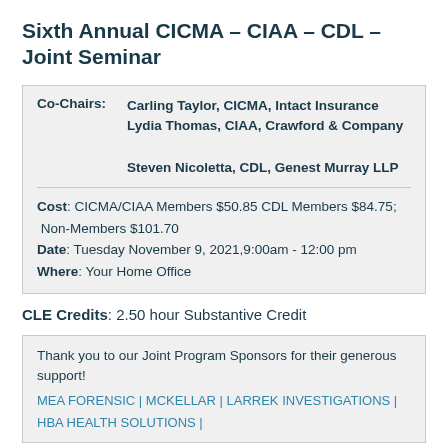Sixth Annual CICMA – CIAA – CDL – Joint Seminar
| Co-Chairs: | Names |
| --- | --- |
| Co-Chairs: | Carling Taylor, CICMA, Intact Insurance
Lydia Thomas, CIAA, Crawford & Company
Steven Nicoletta, CDL, Genest Murray LLP |
Cost: CICMA/CIAA Members $50.85 CDL Members $84.75; Non-Members $101.70
Date: Tuesday November 9, 2021,9:00am - 12:00 pm
Where: Your Home Office
CLE Credits: 2.50 hour Substantive Credit
Thank you to our Joint Program Sponsors for their generous support!
MEA FORENSIC | MCKELLAR | LARREK INVESTIGATIONS |
HBA HEALTH SOLUTIONS |